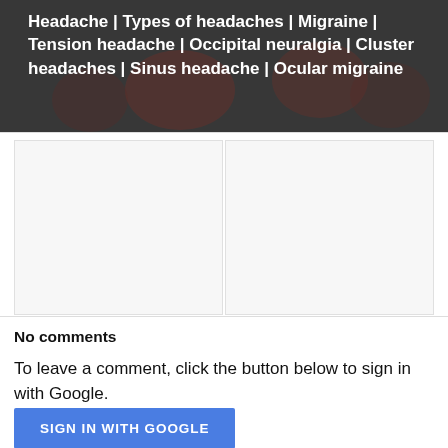[Figure (photo): Dark banner image with blurred medical/headache related background, with overlaid white bold text listing headache types]
Headache | Types of headaches | Migraine | Tension headache | Occipital neuralgia | Cluster headaches | Sinus headache | Ocular migraine
No comments
To leave a comment, click the button below to sign in with Google.
SIGN IN WITH GOOGLE